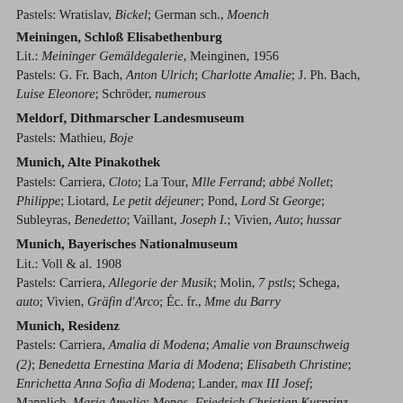Pastels: Wratislav, Bickel; German sch., Moench
Meiningen, Schloß Elisabethenburg
Lit.: Meininger Gemäldegalerie, Meinginen, 1956
Pastels: G. Fr. Bach, Anton Ulrich; Charlotte Amalie; J. Ph. Bach, Luise Eleonore; Schröder, numerous
Meldorf, Dithmarscher Landesmuseum
Pastels: Mathieu, Boje
Munich, Alte Pinakothek
Pastels: Carriera, Cloto; La Tour, Mlle Ferrand; abbé Nollet; Philippe; Liotard, Le petit déjeuner; Pond, Lord St George; Subleyras, Benedetto; Vaillant, Joseph I.; Vivien, Auto; hussar
Munich, Bayerisches Nationalmuseum
Lit.: Voll & al. 1908
Pastels: Carriera, Allegorie der Musik; Molin, 7 pstls; Schega, auto; Vivien, Gräfin d'Arco; Éc. fr., Mme du Barry
Munich, Residenz
Pastels: Carriera, Amalia di Modena; Amalie von Braunschweig (2); Benedetta Ernestina Maria di Modena; Elisabeth Christine; Enrichetta Anna Sofia di Modena; Lander, max III Josef; Mannlich, Maria Amalia; Mengs, Friedrich Christian Kurprinz von Sachsen; Schönchen, femme; Marie-Catherine Silvestre